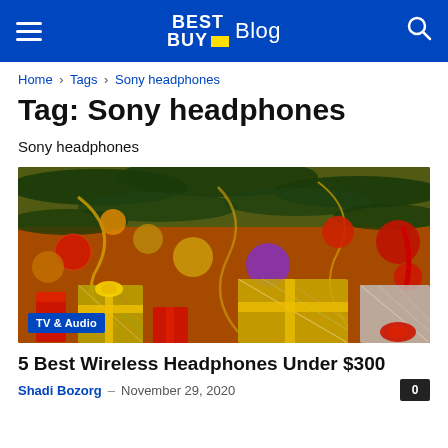BEST BUY Blog
Home › Tags › Sony headphones
Tag: Sony headphones
Sony headphones
[Figure (photo): Christmas gifts and ornaments under a decorated Christmas tree with colorful baubles and wrapped presents. Category badge: TV & Audio]
5 Best Wireless Headphones Under $300
Shadi Bozorg – November 29, 2020